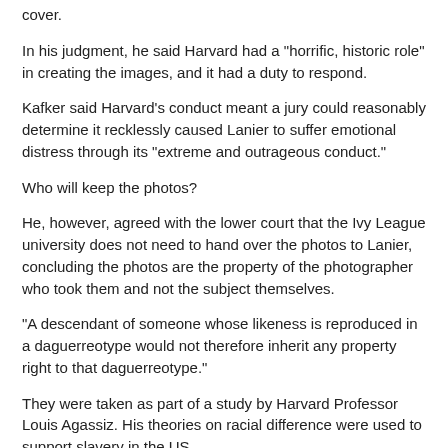cover.
In his judgment, he said Harvard had a "horrific, historic role" in creating the images, and it had a duty to respond.
Kafker said Harvard's conduct meant a jury could reasonably determine it recklessly caused Lanier to suffer emotional distress through its "extreme and outrageous conduct."
Who will keep the photos?
He, however, agreed with the lower court that the Ivy League university does not need to hand over the photos to Lanier, concluding the photos are the property of the photographer who took them and not the subject themselves.
"A descendant of someone whose likeness is reproduced in a daguerreotype would not therefore inherit any property right to that daguerreotype."
They were taken as part of a study by Harvard Professor Louis Agassiz. His theories on racial difference were used to support slavery in the US.
The images are considered some of the earliest photos of enslaved people in the US, with every inch of their bodies captured in